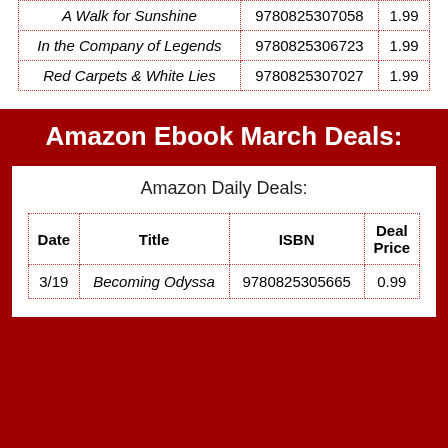| Title | ISBN | Price |
| --- | --- | --- |
| A Walk for Sunshine | 9780825307058 | 1.99 |
| In the Company of Legends | 9780825306723 | 1.99 |
| Red Carpets & White Lies | 9780825307027 | 1.99 |
Amazon Ebook March Deals:
Amazon Daily Deals:
| Date | Title | ISBN | Deal Price |
| --- | --- | --- | --- |
| 3/19 | Becoming Odyssa | 9780825305665 | 0.99 |